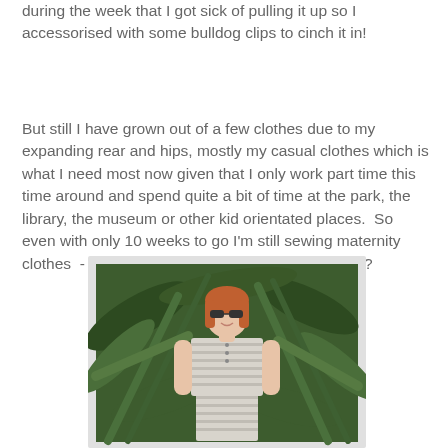during the week that I got sick of pulling it up so I accessorised with some bulldog clips to cinch it in!
But still I have grown out of a few clothes due to my expanding rear and hips, mostly my casual clothes which is what I need most now given that I only work part time this time around and spend quite a bit of time at the park, the library, the museum or other kid orientated places.  So even with only 10 weeks to go I'm still sewing maternity clothes  - I have the fabric and the will, so why not?
[Figure (photo): A woman with red hair and sunglasses wearing a grey and white striped sleeveless dress, standing outdoors in front of large green tropical plants.]